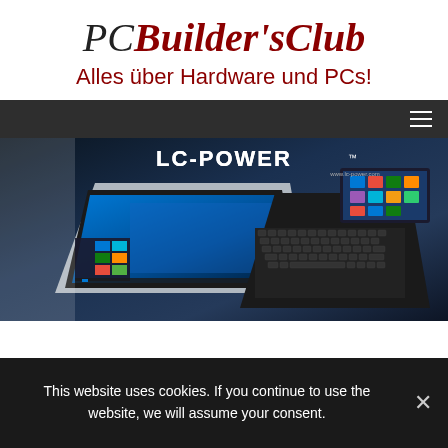PC Builder's Club — Alles über Hardware und PCs!
[Figure (screenshot): LC-Power brand advertisement showing two laptops with Windows 10 interface on dark blue background, with LC-POWER logo and www.lc-power.com URL]
This website uses cookies. If you continue to use the website, we will assume your consent.